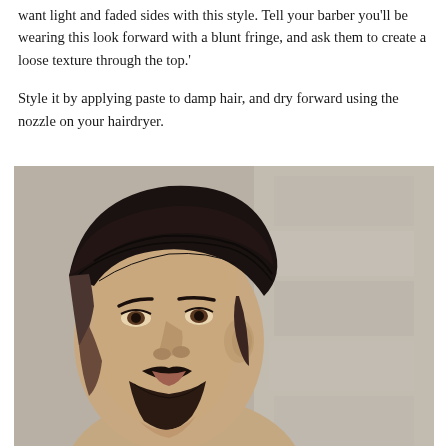want light and faded sides with this style. Tell your barber you'll be wearing this look forward with a blunt fringe, and ask them to create a loose texture through the top.'
Style it by applying paste to damp hair, and dry forward using the nozzle on your hairdryer.
[Figure (photo): Side profile photograph of a man with dark hair styled back with volume on top and faded/tapered sides, showing a neat taper fade. The man has a beard and mustache. Background is a light stone or concrete wall.]